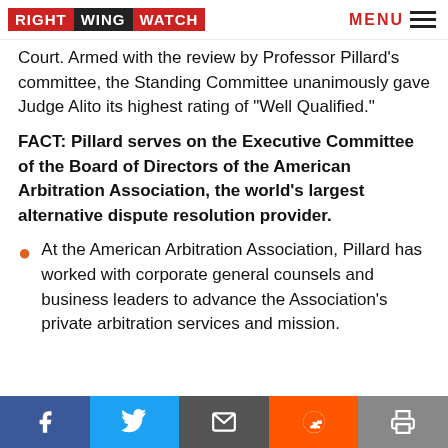RIGHT WING WATCH | MENU
Court. Armed with the review by Professor Pillard’s committee, the Standing Committee unanimously gave Judge Alito its highest rating of “Well Qualified.”
FACT: Pillard serves on the Executive Committee of the Board of Directors of the American Arbitration Association, the world’s largest alternative dispute resolution provider.
At the American Arbitration Association, Pillard has worked with corporate general counsels and business leaders to advance the Association’s private arbitration services and mission.